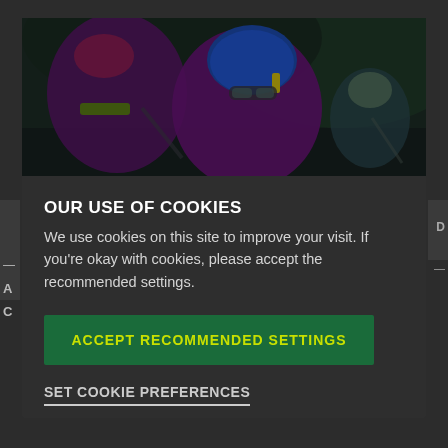[Figure (photo): Screenshot of a website with a cookie consent modal overlay. Background shows a webpage with a video player showing people in kayaking/rafting gear with blue and purple helmets and life vests. A dark semi-transparent modal dialog is overlaid.]
OUR USE OF COOKIES
We use cookies on this site to improve your visit. If you're okay with cookies, please accept the recommended settings.
ACCEPT RECOMMENDED SETTINGS
SET COOKIE PREFERENCES